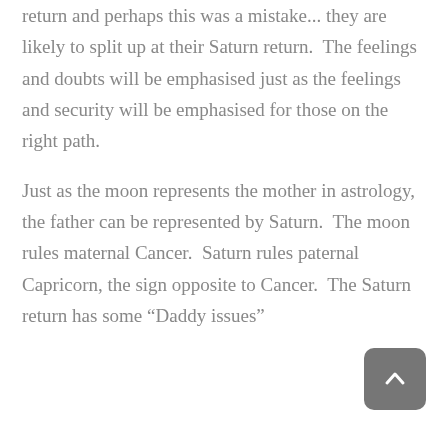return and perhaps this was a mistake... they are likely to split up at their Saturn return.  The feelings and doubts will be emphasised just as the feelings and security will be emphasised for those on the right path.
Just as the moon represents the mother in astrology, the father can be represented by Saturn.  The moon rules maternal Cancer.  Saturn rules paternal Capricorn, the sign opposite to Cancer.  The Saturn return has some “Daddy issues”